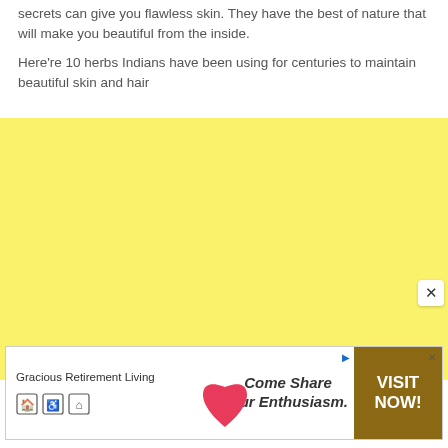secrets can give you flawless skin. They have the best of nature that will make you beautiful from the inside.
Here're 10 herbs Indians have been using for centuries to maintain beautiful skin and hair
[Figure (other): Large yellow advertisement placeholder box]
[Figure (other): Advertisement banner for Gracious Retirement Living with heart logo, tagline 'Come Share Our Enthusiasm.' and 'VISIT NOW!' call-to-action button in brown]